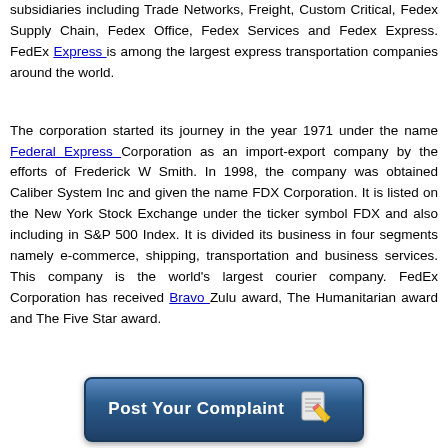subsidiaries including Trade Networks, Freight, Custom Critical, Fedex Supply Chain, Fedex Office, Fedex Services and Fedex Express. FedEx Express is among the largest express transportation companies around the world.

The corporation started its journey in the year 1971 under the name Federal Express Corporation as an import-export company by the efforts of Frederick W Smith. In 1998, the company was obtained Caliber System Inc and given the name FDX Corporation. It is listed on the New York Stock Exchange under the ticker symbol FDX and also including in S&P 500 Index. It is divided its business in four segments namely e-commerce, shipping, transportation and business services. This company is the world's largest courier company. FedEx Corporation has received Bravo Zulu award, The Humanitarian award and The Five Star award.
[Figure (other): A blue rounded button labeled 'Post Your Complaint' with a notepad and pencil icon]